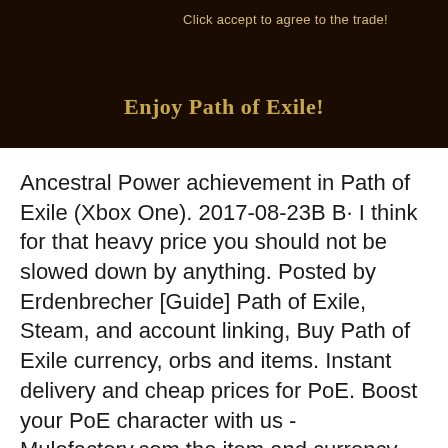[Figure (screenshot): A dark-themed game screenshot from Path of Exile showing the text 'Click accept to agree to the trade!' at the top and 'Enjoy Path of Exile!' in golden text centered below on a dark brown/black background.]
Ancestral Power achievement in Path of Exile (Xbox One). 2017-08-23B B· I think for that heavy price you should not be slowed down by anything. Posted by Erdenbrecher [Guide] Path of Exile, Steam, and account linking, Buy Path of Exile currency, orbs and items. Instant delivery and cheap prices for PoE. Boost your PoE character with us - Mulefactory.com the item and currency shop.
Path of Exile Dev Explains Why The Game Is Not. Path of Exile Crafting